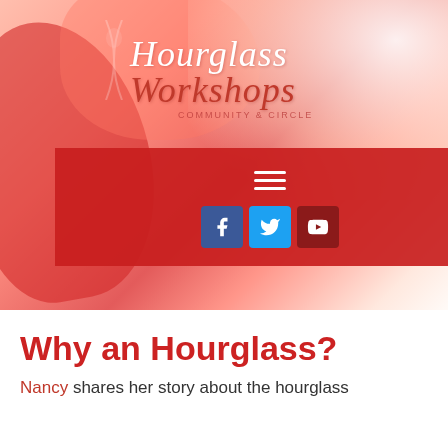[Figure (screenshot): Hero image with red/pink abstract background featuring a website header for Hourglass Workshops with logo, hamburger navigation menu, and social media icons (Facebook, Twitter, YouTube) on a red bar]
Why an Hourglass?
Nancy shares her story about the hourglass